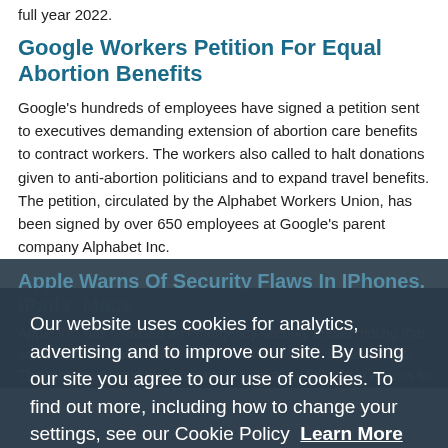full year 2022.
Google Workers Petition For Equal Abortion Benefits
Google's hundreds of employees have signed a petition sent to executives demanding extension of abortion care benefits to contract workers. The workers also called to halt donations given to anti-abortion politicians and to expand travel benefits. The petition, circulated by the Alphabet Workers Union, has been signed by over 650 employees at Google's parent company Alphabet Inc.
Apple Warns Of Security Flaws In IPhones, IPads, Macs
Apple Inc. has released an emergency security update noting that some of its iPhones, iPads and Macs had certain vulnerabilities. The tech major said the flaws potentially allow full admin access to devices. The models affected by the issue include iPhone 6S and later models, several models of the newer iPads, and Mac computers running macOS Mo...
Our website uses cookies for analytics, advertising and to improve our site. By using our site you agree to our use of cookies. To find out more, including how to change your settings, see our Cookie Policy  Learn More